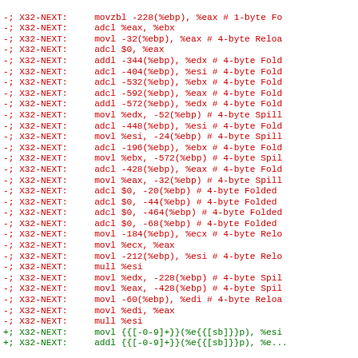Assembly code diff showing X32-NEXT directives with assembly instructions, red lines removed, green lines added
-; X32-NEXT:     movzbl -228(%ebp), %eax # 1-byte Fo
-; X32-NEXT:     adcl %eax, %ebx
-; X32-NEXT:     movl -32(%ebp), %eax # 4-byte Reloa
-; X32-NEXT:     adcl $0, %eax
-; X32-NEXT:     addl -344(%ebp), %edx # 4-byte Fold
-; X32-NEXT:     adcl -404(%ebp), %esi # 4-byte Fold
-; X32-NEXT:     adcl -532(%ebp), %ebx # 4-byte Fold
-; X32-NEXT:     adcl -592(%ebp), %eax # 4-byte Fold
-; X32-NEXT:     addl -572(%ebp), %edx # 4-byte Fold
-; X32-NEXT:     movl %edx, -52(%ebp) # 4-byte Spill
-; X32-NEXT:     adcl -448(%ebp), %esi # 4-byte Fold
-; X32-NEXT:     movl %esi, -24(%ebp) # 4-byte Spill
-; X32-NEXT:     adcl -196(%ebp), %ebx # 4-byte Fold
-; X32-NEXT:     movl %ebx, -572(%ebp) # 4-byte Spil
-; X32-NEXT:     adcl -428(%ebp), %eax # 4-byte Fold
-; X32-NEXT:     movl %eax, -32(%ebp) # 4-byte Spill
-; X32-NEXT:     adcl $0, -20(%ebp) # 4-byte Folded
-; X32-NEXT:     adcl $0, -44(%ebp) # 4-byte Folded
-; X32-NEXT:     adcl $0, -464(%ebp) # 4-byte Folded
-; X32-NEXT:     adcl $0, -68(%ebp) # 4-byte Folded
-; X32-NEXT:     movl -184(%ebp), %ecx # 4-byte Relo
-; X32-NEXT:     movl %ecx, %eax
-; X32-NEXT:     movl -212(%ebp), %esi # 4-byte Relo
-; X32-NEXT:     mull %esi
-; X32-NEXT:     movl %edx, -228(%ebp) # 4-byte Spil
-; X32-NEXT:     movl %eax, -428(%ebp) # 4-byte Spil
-; X32-NEXT:     movl -60(%ebp), %edi # 4-byte Reloa
-; X32-NEXT:     movl %edi, %eax
-; X32-NEXT:     mull %esi
+; X32-NEXT:     movl {{[-0-9]+}}(%e{{[sb]}}p), %esi
+; X32-NEXT:     addl {{[-0-9]+}}(%e{{[sb]}}p), %e...